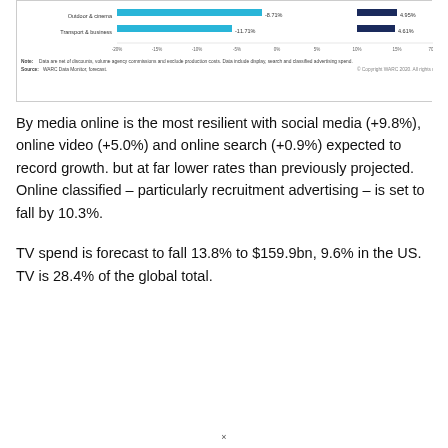[Figure (bar-chart): Advertising spend change by medium]
Note: Data are net of discounts, volume agency commissions and exclude production costs. Data include display, search and classified advertising spend. Source: WARC Data Monitor, forecast.
By media online is the most resilient with social media (+9.8%), online video (+5.0%) and online search (+0.9%) expected to record growth. but at far lower rates than previously projected. Online classified – particularly recruitment advertising – is set to fall by 10.3%.
TV spend is forecast to fall 13.8% to $159.9bn, 9.6% in the US. TV is 28.4% of the global total.
×